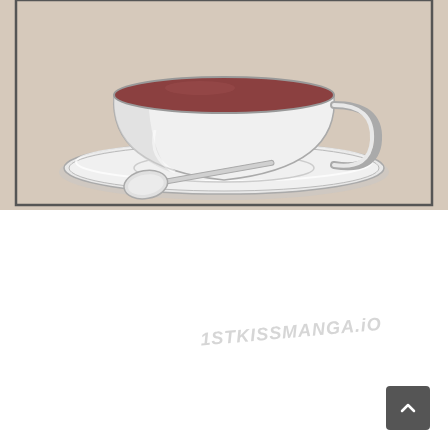[Figure (illustration): Manga-style illustration of a white coffee cup filled with dark brown coffee, sitting on a white saucer with a silver spoon resting on the saucer. The background is a warm beige/tan color. The cup has a handle on the right side. The illustration is in a comic/manga art style with black outlines and shading.]
1STKISSMANGA.iO